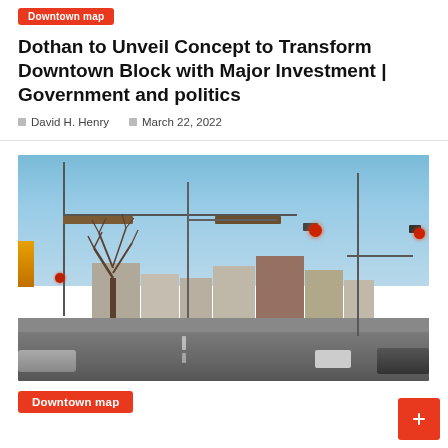Downtown map
Dothan to Unveil Concept to Transform Downtown Block with Major Investment | Government and politics
David H. Henry   March 22, 2022
[Figure (photo): Street-level photo of a downtown intersection in Dothan, Alabama. The scene shows traffic lights showing red, utility poles with crossarms, bare winter trees, low-rise commercial buildings, and several vehicles on the road under a clear blue sky.]
Downtown map